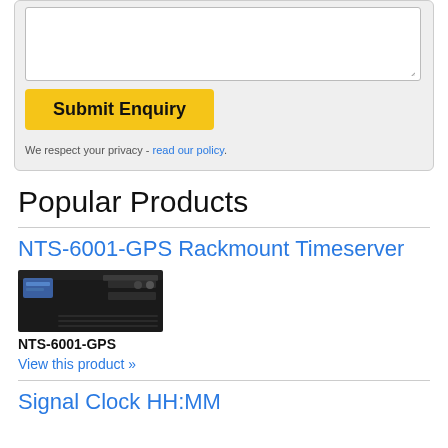[Figure (screenshot): Textarea form input box with resize handle, partially visible at top of page]
Submit Enquiry
We respect your privacy - read our policy.
Popular Products
NTS-6001-GPS Rackmount Timeserver
[Figure (photo): Photo of NTS-6001-GPS rackmount timeserver, a black 1U rack unit with LCD display]
NTS-6001-GPS
View this product »
Signal Clock HH:MM